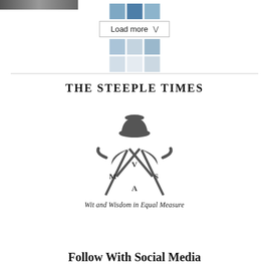[Figure (screenshot): Partial image thumbnail visible at top-left corner]
[Figure (other): Load more button with grid/mosaic icon above and below]
[Figure (logo): The Steeple Times logo with bowler hat and crossed umbrellas, tagline: Wit and Wisdom in Equal Measure]
Follow With Social Media